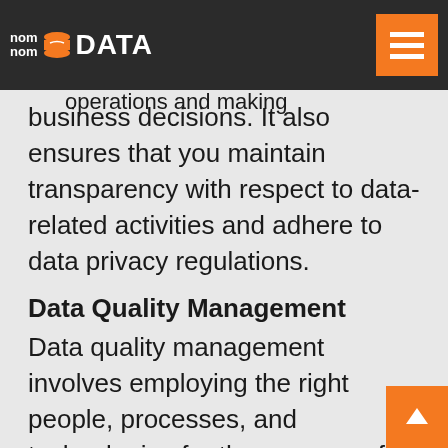nom nom DATA
more essential due to the growing reliance on data and automating operations and making business decisions. It also ensures that you maintain transparency with respect to data-related activities and adhere to data privacy regulations.
Data Quality Management
Data quality management involves employing the right people, processes, and technologies for the purpose of improving your organization's key measures of data quality. Its main purpose is to help your organization use high-quality data to achieve its business outcomes. It is essential for making sense of your organization's data, as it will form the foundation for all business initiatives. Data quality management can involve developing